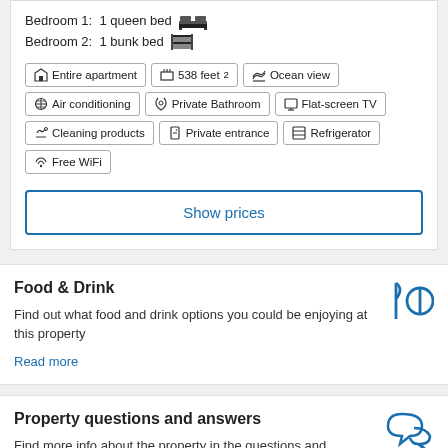Bedroom 1: 1 queen bed
Bedroom 2: 1 bunk bed
Entire apartment
538 feet²
Ocean view
Air conditioning
Private Bathroom
Flat-screen TV
Cleaning products
Private entrance
Refrigerator
Free WiFi
Show prices
Food & Drink
Find out what food and drink options you could be enjoying at this property
Read more
Property questions and answers
Find more info about the property in the questions and